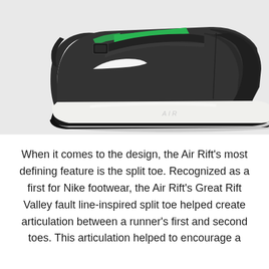[Figure (photo): Nike Air Rift sneaker shown from a side profile. The shoe is dark charcoal/black with green accents on the upper and a white midsole with 'AIR' text embossed. The shoe features a split-toe design and a velcro strap closure.]
When it comes to the design, the Air Rift's most defining feature is the split toe. Recognized as a first for Nike footwear, the Air Rift's Great Rift Valley fault line-inspired split toe helped create articulation between a runner's first and second toes. This articulation helped to encourage a